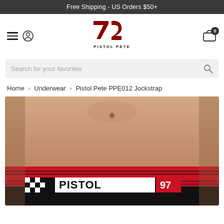Free Shipping - US Orders $50+
[Figure (logo): Pistol Pete brand logo — stylized '72' in dark red with 'PISTOL PETE' text below]
Search for your favorites
Home > Underwear > Pistol Pete PPE012 Jockstrap
[Figure (photo): Close-up photo of a male torso wearing a red and black Pistol Pete PPE012 Jockstrap with checkered pattern and '97' branding]